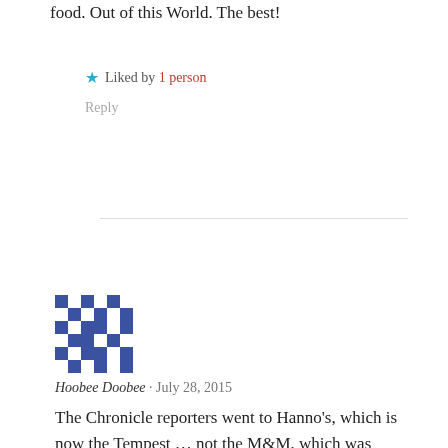food. Out of this World. The best!
Liked by 1 person
Reply
[Figure (illustration): Pixelated avatar icon with blue and white geometric pattern]
Hoobee Doobee · July 28, 2015
The Chronicle reporters went to Hanno's, which is now the Tempest … not the M&M, which was strictly an Examiner bar. Enrico's is now Naked Lunch and doing quite well.